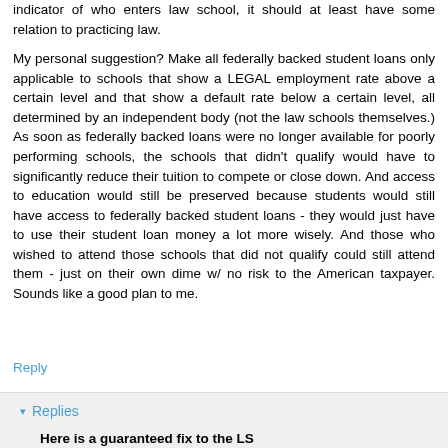indicator of who enters law school, it should at least have some relation to practicing law.
My personal suggestion? Make all federally backed student loans only applicable to schools that show a LEGAL employment rate above a certain level and that show a default rate below a certain level, all determined by an independent body (not the law schools themselves.) As soon as federally backed loans were no longer available for poorly performing schools, the schools that didn't qualify would have to significantly reduce their tuition to compete or close down. And access to education would still be preserved because students would still have access to federally backed student loans - they would just have to use their student loan money a lot more wisely. And those who wished to attend those schools that did not qualify could still attend them - just on their own dime w/ no risk to the American taxpayer. Sounds like a good plan to me.
Reply
Replies
Here is a guaranteed fix to the LS